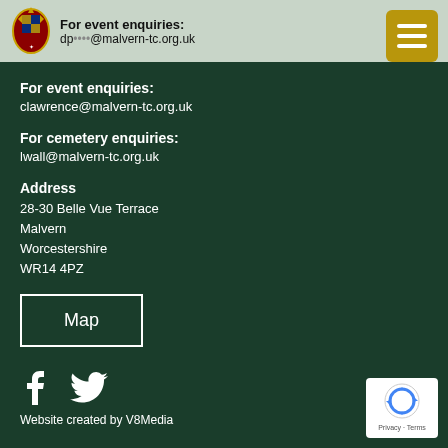For event enquiries: dp...@malvern-tc.org.uk
For event enquiries:
clawrence@malvern-tc.org.uk
For cemetery enquiries:
lwall@malvern-tc.org.uk
Address
28-30 Belle Vue Terrace
Malvern
Worcestershire
WR14 4PZ
[Figure (other): Map button - white bordered rectangle with text 'Map']
[Figure (other): Facebook and Twitter social media icons in white]
Website created by V8Media